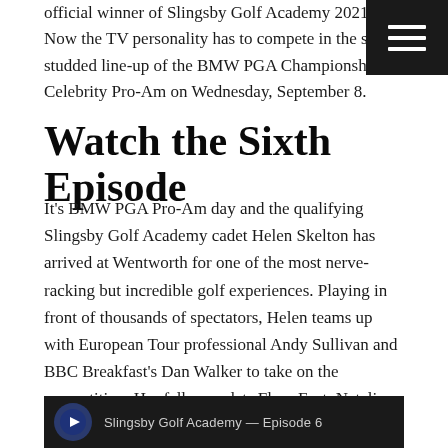official winner of Slingsby Golf Academy 2021. Now the TV personality has to compete in the star-studded line-up of the BMW PGA Championship Celebrity Pro-Am on Wednesday, September 8.
Watch the Sixth Episode
It’s BMW PGA Pro-Am day and the qualifying Slingsby Golf Academy cadet Helen Skelton has arrived at Wentworth for one of the most nerve-racking but incredible golf experiences. Playing in front of thousands of spectators, Helen teams up with European Tour professional Andy Sullivan and BBC Breakfast’s Dan Walker to take on the competition. Her fellow cadets Fleur East, Natalie Pinkham and Bela Shah, the Academy Pros and mentor Inci Mehmet are all there to cheer her on in the next step of this golf journey.
[Figure (screenshot): Video thumbnail strip showing Slingsby Golf Academy Episode 6 content with dark background and logo]